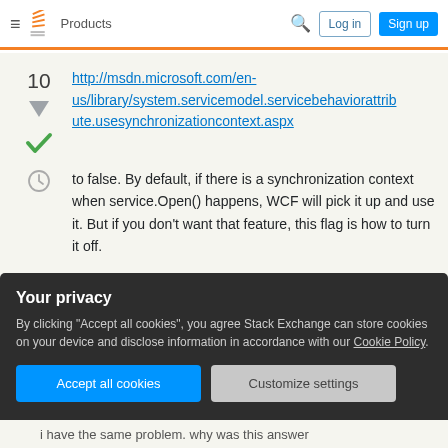≡ [Stack Overflow logo] Products 🔍 Log in Sign up
10
http://msdn.microsoft.com/en-us/library/system.servicemodel.servicebehaviorattribute.usesynchronizationcontext.aspx
to false. By default, if there is a synchronization context when service.Open() happens, WCF will pick it up and use it. But if you don't want that feature, this flag is how to turn it off.
Share   Follow   answered Feb 26, 2009 at 21:18   Brian
Your privacy
By clicking "Accept all cookies", you agree Stack Exchange can store cookies on your device and disclose information in accordance with our Cookie Policy.
Accept all cookies   Customize settings
i have the same problem. why was this answer